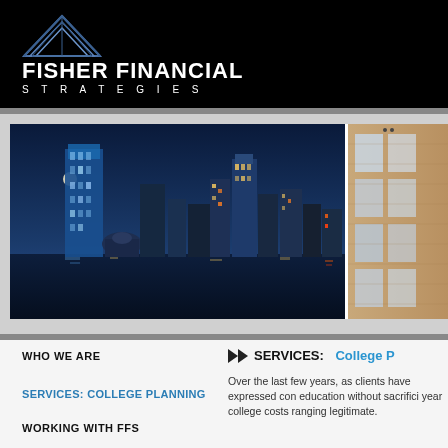[Figure (logo): Fisher Financial Strategies logo with triangular mountain/arrow graphic on black background]
[Figure (photo): City skyline at night with reflections on water (left panel) and building exterior brick facade (right panel)]
WHO WE ARE
SERVICES: COLLEGE PLANNING
WORKING WITH FFS
SERVICES: College P
Over the last few years, as clients have expressed con education without sacrifici year college costs ranging legitimate.